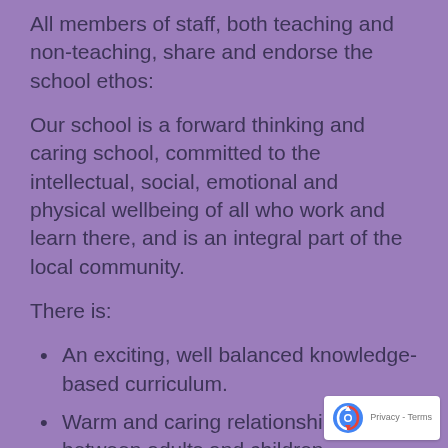All members of staff, both teaching and non-teaching, share and endorse the school ethos:
Our school is a forward thinking and caring school, committed to the intellectual, social, emotional and physical wellbeing of all who work and learn there, and is an integral part of the local community.
There is:
An exciting, well balanced knowledge-based curriculum.
Warm and caring relationships between adults and children.
Well organised and stimulating learning environments including outside the